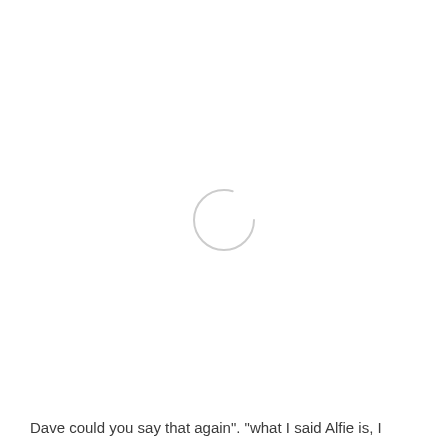[Figure (other): A loading spinner circle — a thin light-gray circular ring, partially visible, indicating a loading state.]
Dave could you say that again". "what I said Alfie is, I